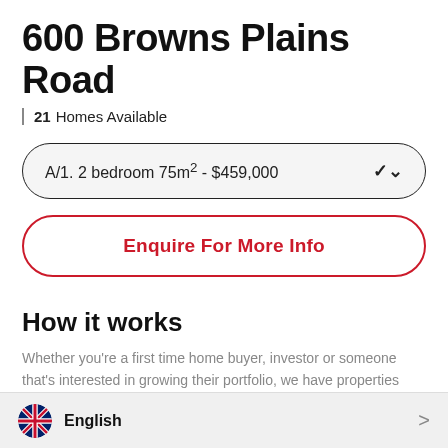600 Browns Plains Road
21 Homes Available
A/1. 2 bedroom 75m² - $459,000
Enquire For More Info
How it works
Whether you're a first time home buyer, investor or someone that's interested in growing their portfolio, we have properties available now. Click 'Enquire For More Info' and one of our client consultants will be in touch to help.
English